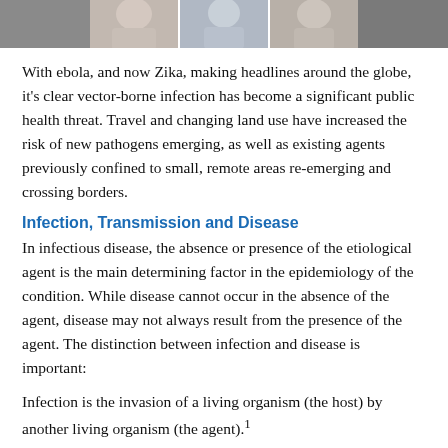[Figure (photo): Strip of three partially visible portrait photos of people at the top of the page]
With ebola, and now Zika, making headlines around the globe, it's clear vector-borne infection has become a significant public health threat. Travel and changing land use have increased the risk of new pathogens emerging, as well as existing agents previously confined to small, remote areas re-emerging and crossing borders.
Infection, Transmission and Disease
In infectious disease, the absence or presence of the etiological agent is the main determining factor in the epidemiology of the condition. While disease cannot occur in the absence of the agent, disease may not always result from the presence of the agent. The distinction between infection and disease is important:
Infection is the invasion of a living organism (the host) by another living organism (the agent).¹
Disease is a derangement in the function of the whole body of the host, or any of its parts.¹
A vector is an invertebrate animal that actively transmits